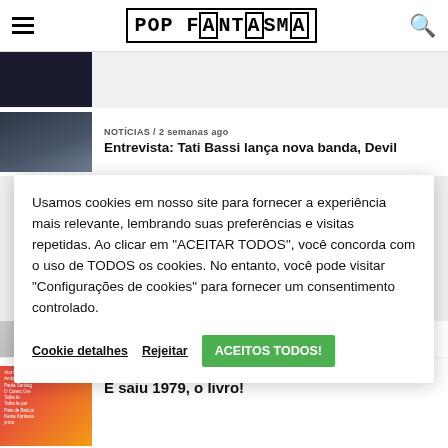POP FANTASMA
[Figure (photo): Partially visible dark thumbnail image at top]
NOTÍCIAS / 2 semanas ago
Entrevista: Tati Bassi lança nova banda, Devil
Usamos cookies em nosso site para fornecer a experiência mais relevante, lembrando suas preferências e visitas repetidas. Ao clicar em "ACEITAR TODOS", você concorda com o uso de TODOS os cookies. No entanto, você pode visitar "Configurações de cookies" para fornecer um consentimento controlado.
Cookie detalhes
Rejeitar
ACEITOS TODOS!
[Figure (photo): Partially visible article thumbnail]
CULTURA POP / 3 semanas ago
E saiu 1979, o livro!
[Figure (photo): Book cover thumbnail with red and orange illustration]